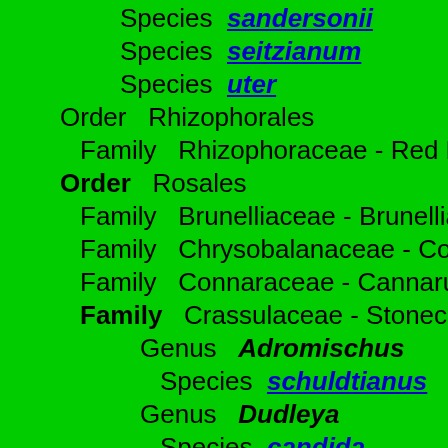Species sandersonii
Species seitzianum
Species uter
Order   Rhizophorales
Family   Rhizophoraceae - Red Man...
Order   Rosales
Family   Brunelliaceae - Brunellia Fa...
Family   Chrysobalanaceae - Cocoa...
Family   Connaraceae - Cannarus F...
Family   Crassulaceae - Stonecrop ...
Genus   Adromischus
Species   schuldtianus
Genus   Dudleya
Species   candida
Genus   Kalanchoe
Species   bitteri